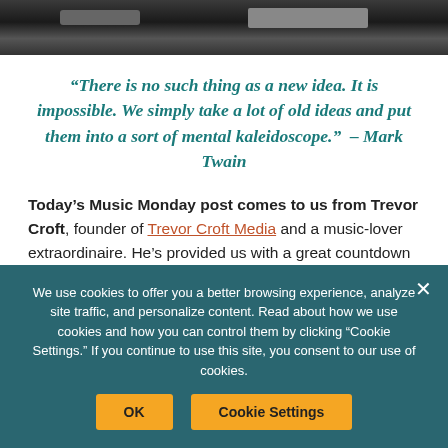[Figure (photo): Dark photograph cropped at top, showing what appears to be music equipment or machinery in dark tones]
“There is no such thing as a new idea. It is impossible. We simply take a lot of old ideas and put them into a sort of mental kaleidoscope.” – Mark Twain
Today’s Music Monday post comes to us from Trevor Croft, founder of Trevor Croft Media and a music-lover extraordinaire. He’s provided us with a great countdown of popular songs you may not have
We use cookies to offer you a better browsing experience, analyze site traffic, and personalize content. Read about how we use cookies and how you can control them by clicking “Cookie Settings.” If you continue to use this site, you consent to our use of cookies.